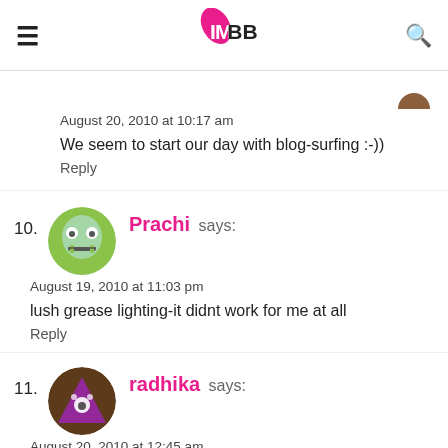IMBB
August 20, 2010 at 10:17 am
We seem to start our day with blog-surfing :-))
Reply
10. Prachi says:
August 19, 2010 at 11:03 pm
lush grease lighting-it didnt work for me at all
Reply
11. radhika says:
August 20, 2010 at 12:45 am
@ prachi – r u sure? can u rite a review on it or tell me in detail...cos i read other reviews online..where